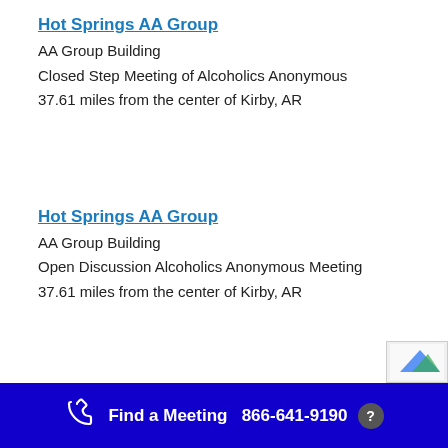Hot Springs AA Group
AA Group Building
Closed Step Meeting of Alcoholics Anonymous
37.61 miles from the center of Kirby, AR
Hot Springs AA Group
AA Group Building
Open Discussion Alcoholics Anonymous Meeting
37.61 miles from the center of Kirby, AR
Find a Meeting  866-641-9190